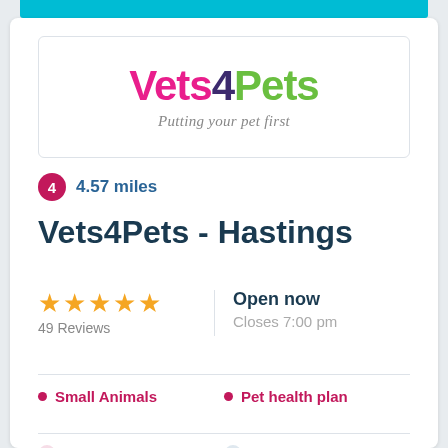[Figure (logo): Vets4Pets logo with tagline 'Putting your pet first']
4  4.57 miles
Vets4Pets - Hastings
★★★★★ 49 Reviews
Open now Closes 7:00 pm
Small Animals
Pet health plan